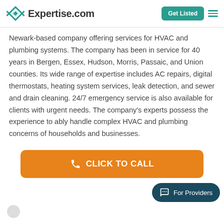Expertise.com | Get Listed
Newark-based company offering services for HVAC and plumbing systems. The company has been in service for 40 years in Bergen, Essex, Hudson, Morris, Passaic, and Union counties. Its wide range of expertise includes AC repairs, digital thermostats, heating system services, leak detection, and sewer and drain cleaning. 24/7 emergency service is also available for clients with urgent needs. The company's experts possess the experience to ably handle complex HVAC and plumbing concerns of households and businesses.
[Figure (other): Orange rounded rectangle button with phone icon and text CLICK TO CALL]
[Figure (other): Dark teal rounded pill button with chat icon and text For Providers]